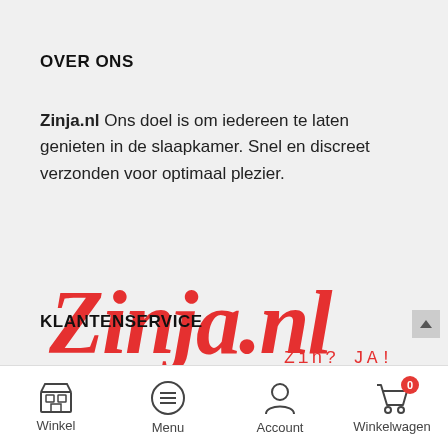OVER ONS
Zinja.nl Ons doel is om iedereen te laten genieten in de slaapkamer. Snel en discreet verzonden voor optimaal plezier.
[Figure (logo): Zinja.nl logo in red cursive script with tagline 'Zin? JA!' in red monospace letters]
KLANTENSERVICE
Winkel  Menu  Account  Winkelwagen